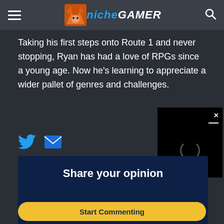Niche Gamer
Taking his first steps onto Route 1 and never stopping, Ryan has had a love of RPGs since a young age. Now he's learning to appreciate a wider pallet of genres and challenges.
[Figure (other): Social media icons: Twitter bird icon (blue) and email envelope icon (blue)]
[Figure (other): Video player overlay with black background, X close button, and loading spinner circle]
Share your opinion
Start Commenting